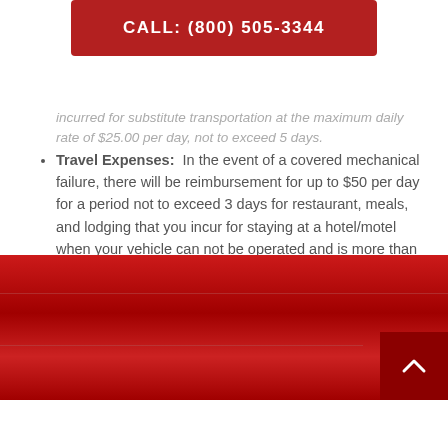CALL: (800) 505-3344
incurred for substitute transportation at the maximum daily rate of $25.00 per day, not to exceed 5 days.
Travel Expenses:  In the event of a covered mechanical failure, there will be reimbursement for up to $50 per day for a period not to exceed 3 days for restaurant, meals, and lodging that you incur for staying at a hotel/motel when your vehicle can not be operated and is more than 100 miles from your home.
[Figure (other): Red footer bar with gradient and scroll-to-top arrow button]